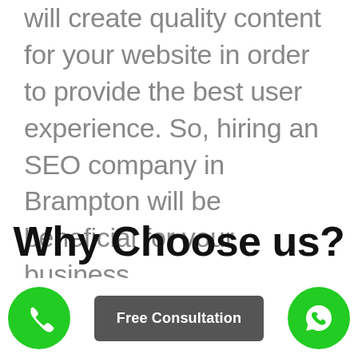will create quality content for your website in order to provide the best user experience. So, hiring an SEO company in Brampton will be beneficial for your business.
Why Choose us?
[Figure (other): Green phone call button (circle), Free Consultation grey button, and green WhatsApp button arranged in a row at the bottom of the page]